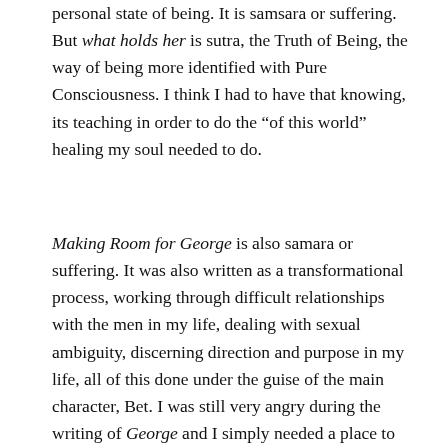personal state of being. It is samsara or suffering. But what holds her is sutra, the Truth of Being, the way of being more identified with Pure Consciousness.  I think I had to have that knowing, its teaching in order to do the “of this world” healing my soul needed to do.
Making Room for George is also samara or suffering.  It was also written as a transformational process, working through difficult relationships with the men in my life, dealing with sexual ambiguity, discerning direction and purpose in my life, all of this done under the guise of the main character, Bet.  I was still very angry during the writing of George and I simply needed a place to put all of that angst.  I needed a record of what was happening to my life.  Writing it all down became my way out like hacking a path through a jungle.  I am grateful to the book and to George, himself, for giving me that path. You’ve made me curious about “through lines.”  Of course, the themes are interwoven.  It seems my soul work during this incarnation is to learn how to live in harmonious